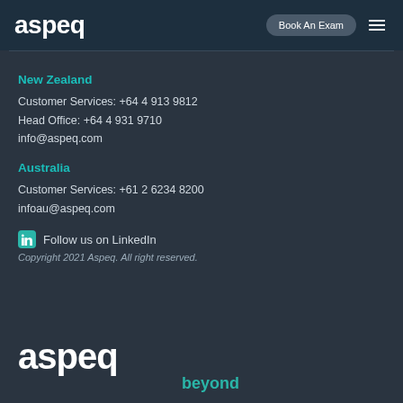aspeq — Book An Exam
New Zealand
Customer Services: +64 4 913 9812
Head Office: +64 4 931 9710
info@aspeq.com
Australia
Customer Services: +61 2 6234 8200
infoau@aspeq.com
Follow us on LinkedIn
Copyright 2021 Aspeq. All right reserved.
aspeq beyond